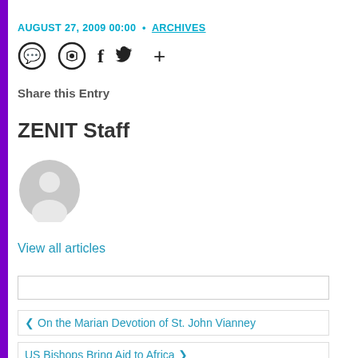AUGUST 27, 2009 00:00  •  ARCHIVES
[Figure (infographic): Social sharing icons: WhatsApp, Messenger, Facebook, Twitter, plus sign]
Share this Entry
ZENIT Staff
[Figure (illustration): Generic user avatar icon — grey circle with person silhouette]
View all articles
On the Marian Devotion of St. John Vianney
US Bishops Bring Aid to Africa